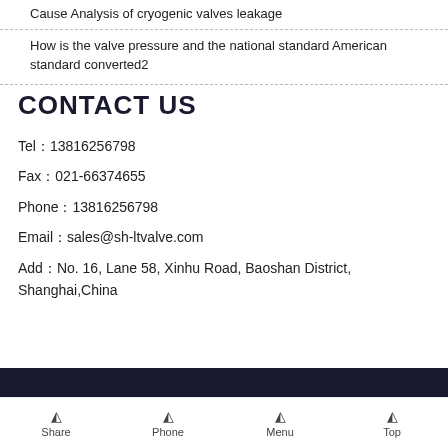Cause Analysis of cryogenic valves leakage
How is the valve pressure and the national standard American standard converted2
CONTACT US
Tel：13816256798
Fax：021-66374655
Phone：13816256798
Email：sales@sh-ltvalve.com
Add：No. 16, Lane 58, Xinhu Road, Baoshan District, Shanghai,China
Share  Phone  Menu  Top